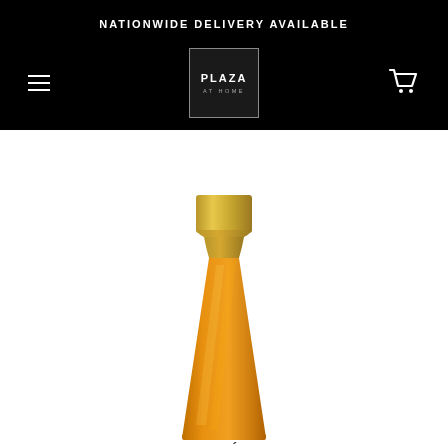NATIONWIDE DELIVERY AVAILABLE
[Figure (logo): Plaza At Home logo — white text on dark background in a bordered square]
[Figure (photo): A tall, tapered amber/golden glass bottle of Decleor product with a gold metallic cap, against a white background. The word DECLEOR is partially visible at the bottom.]